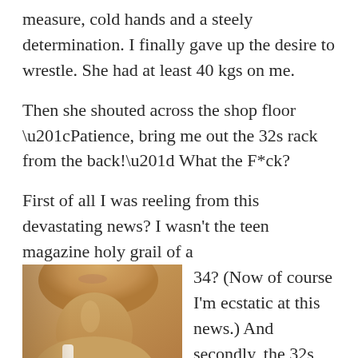measure, cold hands and a steely determination. I finally gave up the desire to wrestle. She had at least 40 kgs on me.
Then she shouted across the shop floor “Patience, bring me out the 32s rack from the back!” What the F*ck?
First of all I was reeling from this devastating news? I wasn’t the teen magazine holy grail of a 34? (Now of course I’m ecstatic at this news.) And secondly, the 32s weren’t even good
[Figure (photo): Close-up photo of a woman's chin, neck and shoulder, skin tone warm brown, wearing a white strap garment]